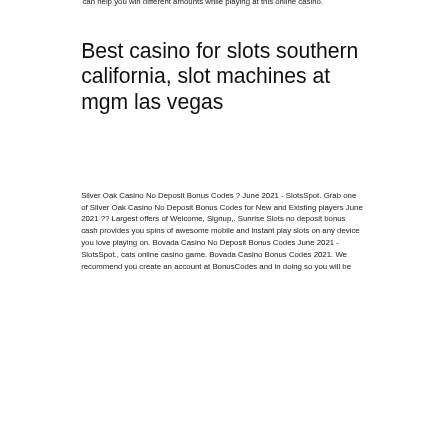can help you win different amounts while playing at this online casino.
Best casino for slots southern california, slot machines at mgm las vegas
Silver Oak Casino No Deposit Bonus Codes ? June 2021 - SlotsSpot. Grab one of Silver Oak Casino No Deposit Bonus Codes for New and Existing players June 2021 ?? Largest offers of Welcome, Signup,. Sunrise Slots no deposit bonus cash provides you spins of awesome mobile and instant play slots on any device you love playing on. Bovada Casino No Deposit Bonus Codes June 2021 - SlotsSpot., cats online casino game. Bovada Casino Bonus Codes 2021. We recommend you create an account at BonusCodes and in doing so you will be